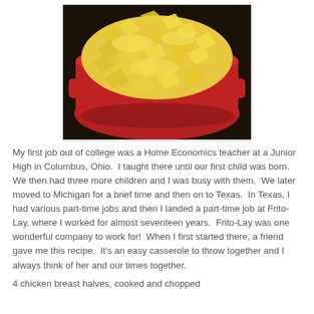[Figure (photo): A red casserole dish filled with a cheesy Frito chip casserole, showing yellow corn chips and melted cheese topping, photographed from above at an angle.]
My first job out of college was a Home Economics teacher at a Junior High in Columbus, Ohio.  I taught there until our first child was born.  We then had three more children and I was busy with them.  We later moved to Michigan for a brief time and then on to Texas.  In Texas, I had various part-time jobs and then I landed a part-time job at Frito-Lay, where I worked for almost seventeen years.  Frito-Lay was one wonderful company to work for!  When I first started there, a friend gave me this recipe.  It's an easy casserole to throw together and I always think of her and our times together.
4 chicken breast halves, cooked and chopped